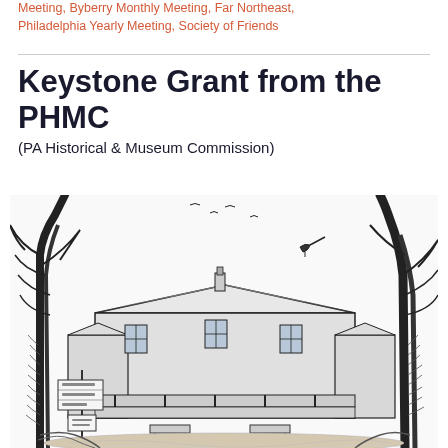Meeting, Byberry Monthly Meeting, Far Northeast, Philadelphia Yearly Meeting, Society of Friends
Keystone Grant from the PHMC
(PA Historical & Museum Commission)
[Figure (illustration): Black and white pen-and-ink illustration of a historic Quaker meeting house building surrounded by large trees, with a sign post visible on the left side.]